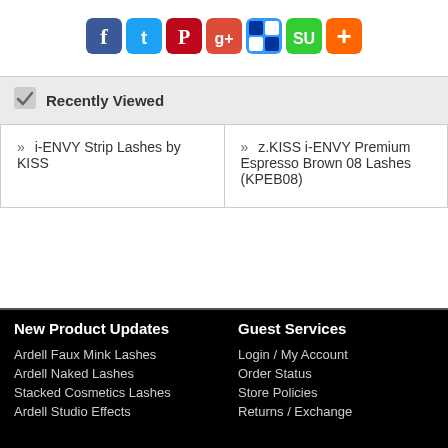[Figure (infographic): Row of social media share buttons: Facebook, Twitter, Pinterest, Google+, Delicious, StumbleUpon, and a plus/add button]
Recently Viewed
| » i-ENVY Strip Lashes by KISS | » z.KISS i-ENVY Premium Espresso Brown 08 Lashes (KPEB08) |
New Product Updates
Ardell Faux Mink Lashes
Ardell Naked Lashes
Stacked Cosmetics Lashes
Ardell Studio Effects
Guest Services
Login / My Account
Order Status
Store Policies
Returns / Exchange